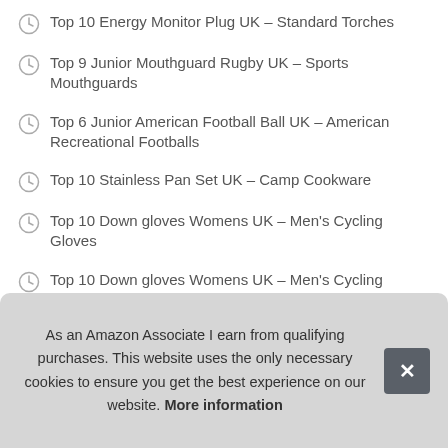Top 10 Energy Monitor Plug UK – Standard Torches
Top 9 Junior Mouthguard Rugby UK – Sports Mouthguards
Top 6 Junior American Football Ball UK – American Recreational Footballs
Top 10 Stainless Pan Set UK – Camp Cookware
Top 10 Down gloves Womens UK – Men's Cycling Gloves
Top 10 Down gloves Womens UK – Men's Cycling Gloves
Top 6 Watches Box Storage for Men UK – Activity Trackers
As an Amazon Associate I earn from qualifying purchases. This website uses the only necessary cookies to ensure you get the best experience on our website. More information